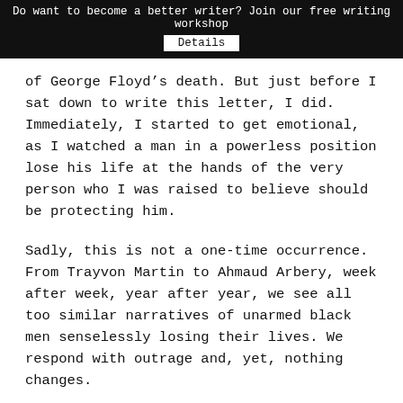Do want to become a better writer? Join our free writing workshop
Details
of George Floyd’s death. But just before I sat down to write this letter, I did. Immediately, I started to get emotional, as I watched a man in a powerless position lose his life at the hands of the very person who I was raised to believe should be protecting him.
Sadly, this is not a one-time occurrence. From Trayvon Martin to Ahmaud Arbery, week after week, year after year, we see all too similar narratives of unarmed black men senselessly losing their lives. We respond with outrage and, yet, nothing changes.